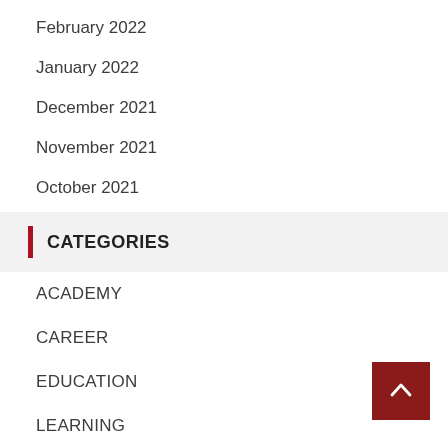February 2022
January 2022
December 2021
November 2021
October 2021
CATEGORIES
ACADEMY
CAREER
EDUCATION
LEARNING
ONLINE TUTOR
SCHOOL